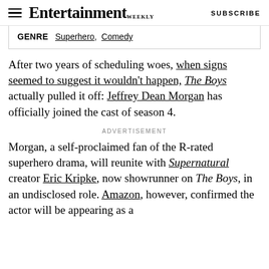Entertainment Weekly   SUBSCRIBE
| GENRE   Superhero,  Comedy |
After two years of scheduling woes, when signs seemed to suggest it wouldn't happen, The Boys actually pulled it off: Jeffrey Dean Morgan has officially joined the cast of season 4.
ADVERTISEMENT
Morgan, a self-proclaimed fan of the R-rated superhero drama, will reunite with Supernatural creator Eric Kripke, now showrunner on The Boys, in an undisclosed role. Amazon, however, confirmed the actor will be appearing as a